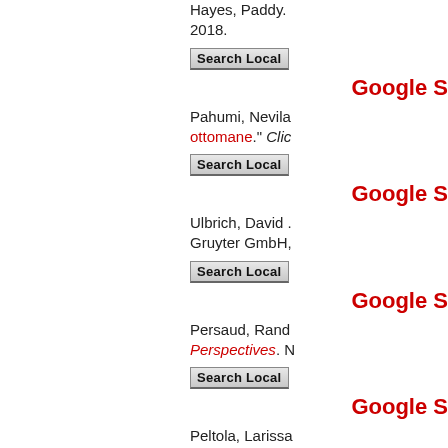Hayes, Paddy. 2018.
[Figure (screenshot): Search Local button]
Google S
Pahumi, Nevila ... ottomane." Clic
[Figure (screenshot): Search Local button]
Google S
Ulbrich, David ... Gruyter GmbH,
[Figure (screenshot): Search Local button]
Google S
Persaud, Rand ... Perspectives. N
[Figure (screenshot): Search Local button]
Google S
Peltola, Larissa ... of Arts. Clarem